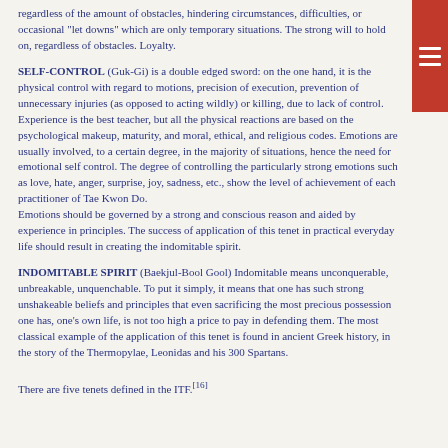regardless of the amount of obstacles, hindering circumstances, difficulties, or occasional "let downs" which are only temporary situations. The strong will to hold on, regardless of obstacles. Loyalty.
SELF-CONTROL (Guk-Gi) is a double edged sword: on the one hand, it is the physical control with regard to motions, precision of execution, prevention of unnecessary injuries (as opposed to acting wildly) or killing, due to lack of control. Experience is the best teacher, but all the physical reactions are based on the psychological makeup, maturity, and moral, ethical, and religious codes. Emotions are usually involved, to a certain degree, in the majority of situations, hence the need for emotional self control. The degree of controlling the particularly strong emotions such as love, hate, anger, surprise, joy, sadness, etc., show the level of achievement of each practitioner of Tae Kwon Do.
Emotions should be governed by a strong and conscious reason and aided by experience in principles. The success of application of this tenet in practical everyday life should result in creating the indomitable spirit.
INDOMITABLE SPIRIT (Baekjul-Bool Gool) Indomitable means unconquerable, unbreakable, unquenchable. To put it simply, it means that one has such strong unshakeable beliefs and principles that even sacrificing the most precious possession one has, one’s own life, is not too high a price to pay in defending them. The most classical example of the application of this tenet is found in ancient Greek history, in the story of the Thermopylae, Leonidas and his 300 Spartans.
There are five tenets defined in the ITF.[16]